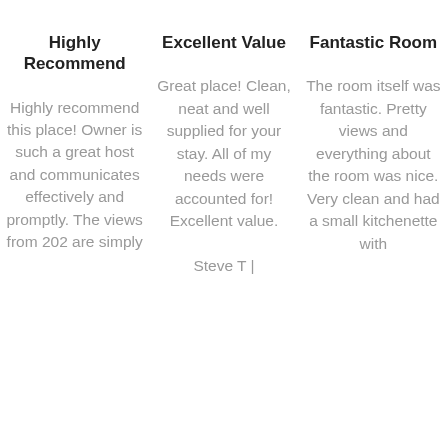Highly Recommend
Excellent Value
Fantastic Room
Highly recommend this place! Owner is such a great host and communicates effectively and promptly. The views from 202 are simply
Great place! Clean, neat and well supplied for your stay. All of my needs were accounted for! Excellent value.

Steve T |
The room itself was fantastic. Pretty views and everything about the room was nice. Very clean and had a small kitchenette with